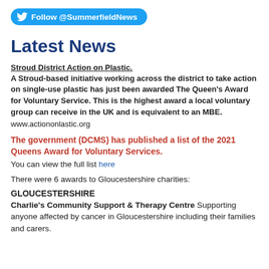Follow @SummerfieldNews
Latest News
Stroud District Action on Plastic.
A Stroud-based initiative working across the district to take action on single-use plastic has just been awarded The Queen's Award for Voluntary Service. This is the highest award a local voluntary group can receive in the UK and is equivalent to an MBE.
www.actiononlastic.org
The government (DCMS) has published a list of the 2021 Queens Award for Voluntary Services.
You can view the full list here
There were 6 awards to Gloucestershire charities:
GLOUCESTERSHIRE
Charlie's Community Support & Therapy Centre Supporting anyone affected by cancer in Gloucestershire including their families and carers.